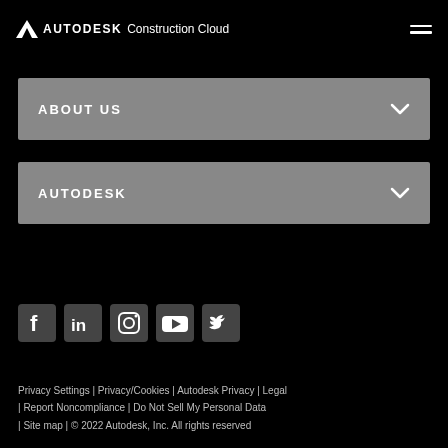AUTODESK Construction Cloud
ABOUT US
AUTODESK
[Figure (other): Social media icons: Facebook, LinkedIn, Instagram, YouTube, Twitter]
Privacy Settings | Privacy/Cookies | Autodesk Privacy | Legal | Report Noncompliance | Do Not Sell My Personal Data | Site map | © 2022 Autodesk, Inc. All rights reserved